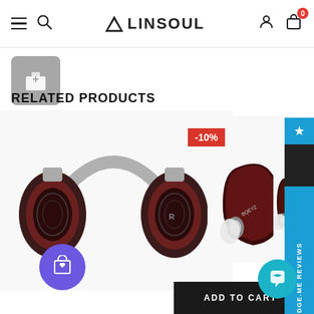Linsoul - Navigation bar with hamburger menu, search, logo, user and cart icons
RELATED PRODUCTS
[Figure (photo): Over-ear headphone (open-back, dark red/black earcups with silver headband) displayed on white background]
[Figure (photo): In-ear monitor earbuds (dark red/black shell) on white background with -10% discount badge]
[Figure (photo): In-ear monitor earbuds (dark wood/black shell) on white background, partially cropped]